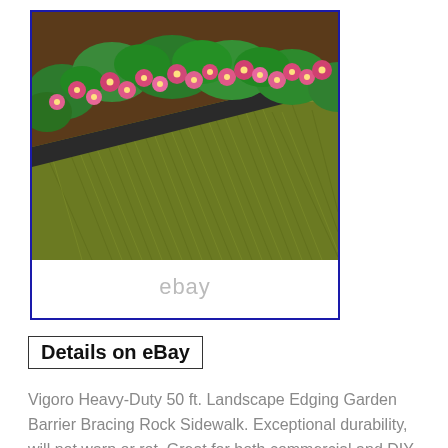[Figure (photo): eBay product listing image showing green artificial or natural grass lawn with pink flowers and green leafy plants along a dark garden edging border, with 'ebay' watermark text below the photo portion.]
Details on eBay
Vigoro Heavy-Duty 50 ft. Landscape Edging Garden Barrier Bracing Rock Sidewalk. Exceptional durability, will not warp or rot. Great for both commercial and DIY landscape installations. 2 connectors are included for linking multiple coils together. Heavy-Duty Professional